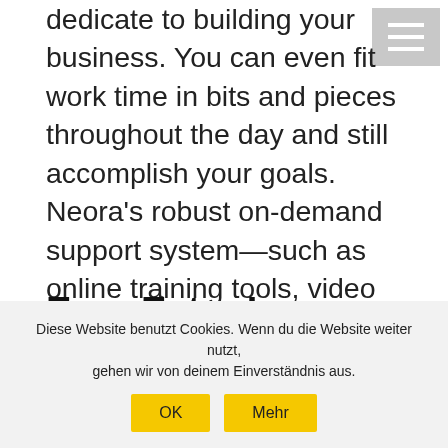dedicate to building your business. You can even fit work time in bits and pieces throughout the day and still accomplish your goals. Neora's robust on-demand support system—such as online training tools, video conference calls and customized social media content—makes it easy for Brand Partners to stay up to speed on making their business a success.
Earn Extra Income
Diese Website benutzt Cookies. Wenn du die Website weiter nutzt, gehen wir von deinem Einverständnis aus.